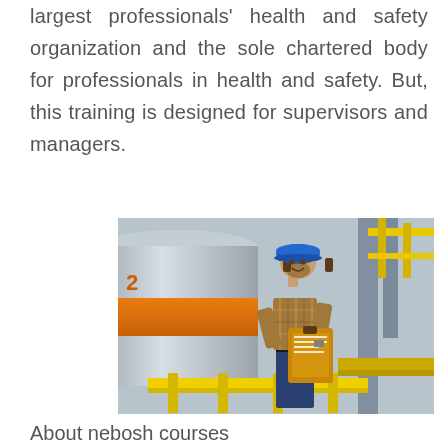largest professionals' health and safety organization and the sole chartered body for professionals in health and safety. But, this training is designed for supervisors and managers.
[Figure (photo): A worker in a blue hard hat and plaid shirt holding a clipboard, standing near yellow safety railings in an industrial facility with large orange and grey cylindrical tanks/pipes in the background.]
About nebosh courses